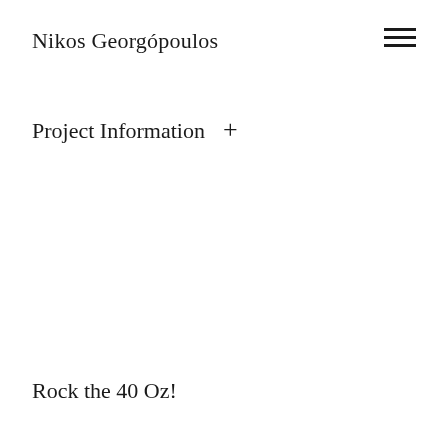Nikos Georgópoulos
Project Information +
Rock the 40 Oz!